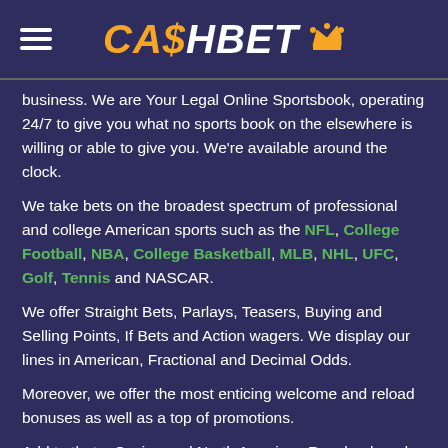CA$HBET
business. We are Your Legal Online Sportsbook, operating 24/7 to give you what no sports book on the elsewhere is willing or able to give you. We're available around the clock.
We take bets on the broadest spectrum of professional and college American sports such as the NFL, College Football, NBA, College Basketball, MLB, NHL, UFC, Golf, Tennis and NASCAR.
We offer Straight Bets, Parlays, Teasers, Buying and Selling Points, If Bets and Action wagers. We display our lines in American, Fractional and Decimal Odds.
Moreover, we offer the most enticing welcome and reload bonuses as well as a top of promotions.
Add to that a Casino and North American Racebook and must-have features like Live Betting and a mobile friendly platform. We've got it